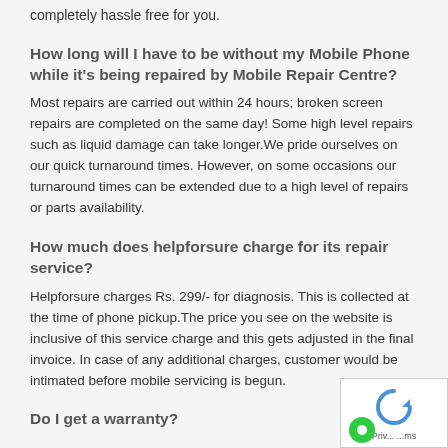completely hassle free for you.
How long will I have to be without my Mobile Phone while it’s being repaired by Mobile Repair Centre?
Most repairs are carried out within 24 hours; broken screen repairs are completed on the same day! Some high level repairs such as liquid damage can take longer.We pride ourselves on our quick turnaround times. However, on some occasions our turnaround times can be extended due to a high level of repairs or parts availability.
How much does helpforsure charge for its repair service?
Helpforsure charges Rs. 299/- for diagnosis. This is collected at the time of phone pickup.The price you see on the website is inclusive of this service charge and this gets adjusted in the final invoice. In case of any additional charges, customer would be intimated before mobile servicing is begun.
Do I get a warranty?